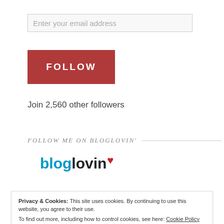Enter your email address
FOLLOW
Join 2,560 other followers
FOLLOW ME ON BLOGLOVIN'
[Figure (logo): Bloglovin logo with heart icon]
Privacy & Cookies: This site uses cookies. By continuing to use this website, you agree to their use.
To find out more, including how to control cookies, see here: Cookie Policy
Close and accept